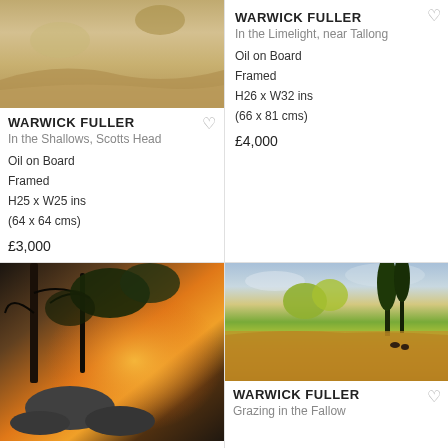[Figure (photo): Painting by Warwick Fuller - In the Shallows, Scotts Head. Landscape painting with sandy/earthy tones, partially cropped at top.]
WARWICK FULLER
In the Shallows, Scotts Head
Oil on Board
Framed
H25 x W25 ins
(64 x 64 cms)
£3,000
WARWICK FULLER
In the Limelight, near Tallong
Oil on Board
Framed
H26 x W32 ins
(66 x 81 cms)
£4,000
[Figure (photo): Painting by Warwick Fuller - landscape with dramatic sunset, trees silhouetted, large boulders in foreground, orange and golden sky.]
[Figure (photo): Painting by Warwick Fuller - Grazing in the Fallow. Pastoral landscape with golden fields, trees, cattle grazing, blue sky with clouds.]
WARWICK FULLER
Grazing in the Fallow